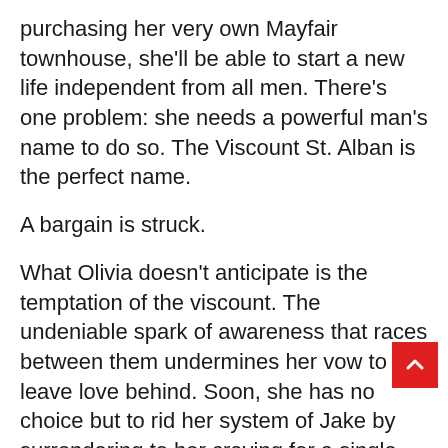purchasing her very own Mayfair townhouse, she'll be able to start a new life independent from all men. There's one problem: she needs a powerful man's name to do so. The Viscount St. Alban is the perfect name.
A bargain is struck.
What Olivia doesn't anticipate is the temptation of the viscount. The undeniable spark of awareness that races between them undermines her vow to leave love behind. Soon, she has no choice but to rid her system of Jake by surrendering to her craving for a single scorching encounter.
But is once enough? Sometimes once only stokes the flame of desire higher and hotter. And sometimes once is all the heart needs to risk all and follow a mad passion wherever it may lead.